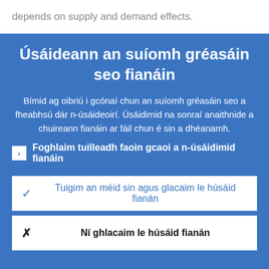depends on supply and demand effects.
As regards supply effects, negative
Úsáideann an suíomh gréasáin seo fianáin
Bímid ag oibriú i gcónaí chun an suíomh gréasáin seo a fheabhsú dár n-úsáideoirí. Úsáidimid na sonraí anaithnide a chuireann fianáin ar fáil chun é sin a dhéanamh.
Foghlaim tuilleadh faoin gcaoi a n-úsáidimid fianáin
Tuigim an méid sin agus glacaim le húsáid fianán
Ní ghlacaim le húsáid fianán